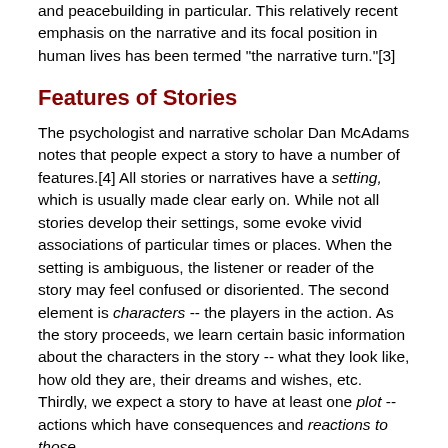and peacebuilding in particular. This relatively recent emphasis on the narrative and its focal position in human lives has been termed "the narrative turn."[3]
Features of Stories
The psychologist and narrative scholar Dan McAdams notes that people expect a story to have a number of features.[4] All stories or narratives have a setting, which is usually made clear early on. While not all stories develop their settings, some evoke vivid associations of particular times or places. When the setting is ambiguous, the listener or reader of the story may feel confused or disoriented. The second element is characters -- the players in the action. As the story proceeds, we learn certain basic information about the characters in the story -- what they look like, how old they are, their dreams and wishes, etc. Thirdly, we expect a story to have at least one plot -- actions which have consequences and reactions to those